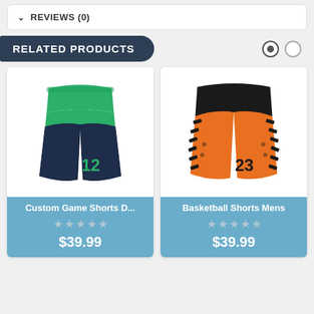REVIEWS (0)
RELATED PRODUCTS
[Figure (photo): Green and navy blue basketball/athletic shorts with number 12]
Custom Game Shorts D...
★★★★★ (empty stars)
$39.99
[Figure (photo): Orange basketball shorts with black tire-track pattern and number 23]
Basketball Shorts Mens
★★★★★ (empty stars)
$39.99